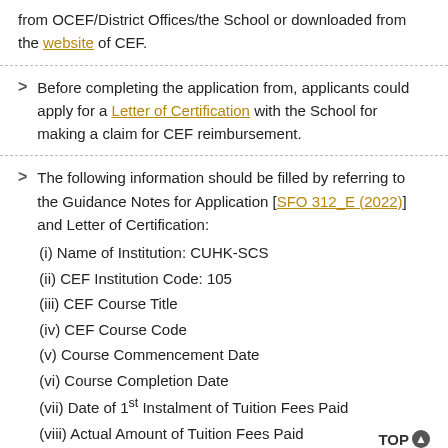from OCEF/District Offices/the School or downloaded from the website of CEF.
Before completing the application from, applicants could apply for a Letter of Certification with the School for making a claim for CEF reimbursement.
The following information should be filled by referring to the Guidance Notes for Application [SFO 312_E (2022)] and Letter of Certification: (i) Name of Institution: CUHK-SCS (ii) CEF Institution Code: 105 (iii) CEF Course Title (iv) CEF Course Code (v) Course Commencement Date (vi) Course Completion Date (vii) Date of 1st Instalment of Tuition Fees Paid (viii) Actual Amount of Tuition Fees Paid